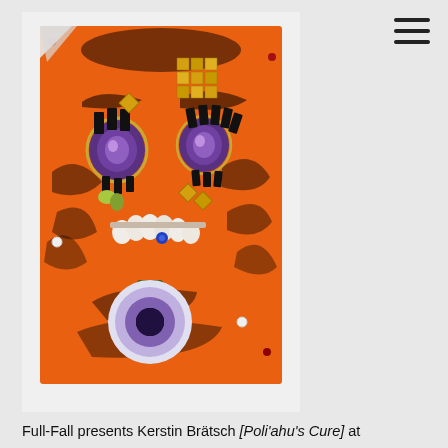[Figure (photo): Artwork photograph: an orange fabric piece pinned to a white wall, featuring an expressive face-like composition made with mixed media including purple agate stones as eyes, black rectangular elements as eyebrows/lashes, gold mosaic tiles, white shell-like teeth, gemstones, and a round blue-purple circle at the bottom suggesting a mouth or chin. Dark brushstroke marks create a fierce facial expression on the orange background.]
Full-Fall presents Kerstin Brätsch [Poli'ahu's Cure] at